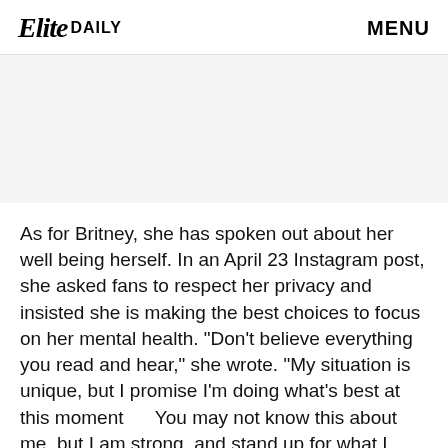Elite DAILY   MENU
[Figure (other): Gray advertisement/banner placeholder area]
As for Britney, she has spoken out about her well being herself. In an April 23 Instagram post, she asked fans to respect her privacy and insisted she is making the best choices to focus on her mental health. "Don't believe everything you read and hear," she wrote. "My situation is unique, but I promise I'm doing what's best at this moment      You may not know this about me, but I am strong, and stand up for what I want. You have my dedication in…"